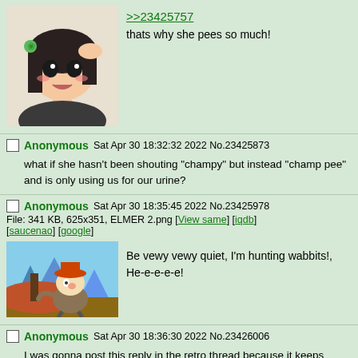[Figure (illustration): Anime-style girl with dark hair and a flower clip, looking distressed, hand on head]
>>23425757
thats why she pees so much!
Anonymous Sat Apr 30 18:32:32 2022 No.23425873
what if she hasn't been shouting "champy" but instead "champ pee" and is only using us for our urine?
Anonymous Sat Apr 30 18:35:45 2022 No.23425978
File: 341 KB, 625x351, ELMER 2.png [View same] [iqdb] [saucenao] [google]
[Figure (illustration): Elmer Fudd cartoon character sneaking with mountains in background]
Be vewy vewy quiet, I'm hunting wabbits!, He-e-e-e-e!
Anonymous Sat Apr 30 18:36:30 2022 No.23426006
I was gonna post this reply in the retro thread because it keeps being brought up, but figured I